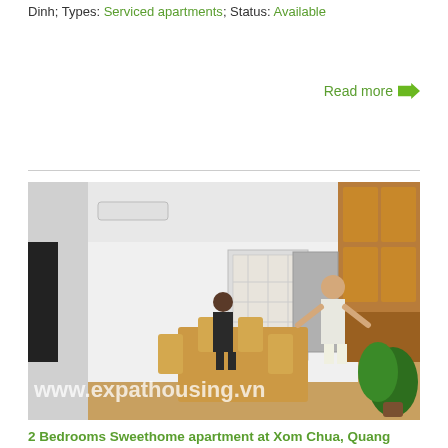Dinh; Types: Serviced apartments; Status: Available
Read more →
[Figure (photo): Interior photo of a modern apartment showing an open-plan living and dining area with wooden floors, a dining table and chairs, kitchen cabinets in the background, a woman walking away from the camera, and a watermark reading www.expathousing.vn]
2 Bedrooms Sweethome apartment at Xom Chua, Quang An, Tay Ho, Ha Noi
ID: 0197; Price: 1,500 $/ month; Bedrooms: 2; Bathrooms: 2; Location: Serviced apartments Tay Ho; Types: Serviced apartments; Status: Available